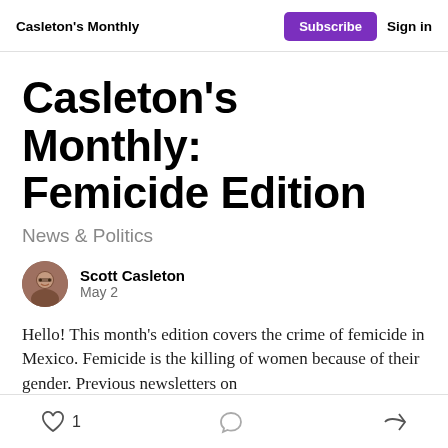Casleton's Monthly | Subscribe | Sign in
Casleton's Monthly: Femicide Edition
News & Politics
Scott Casleton
May 2
Hello! This month's edition covers the crime of femicide in Mexico. Femicide is the killing of women because of their gender. Previous newsletters on
1 [like] [comment] [share]